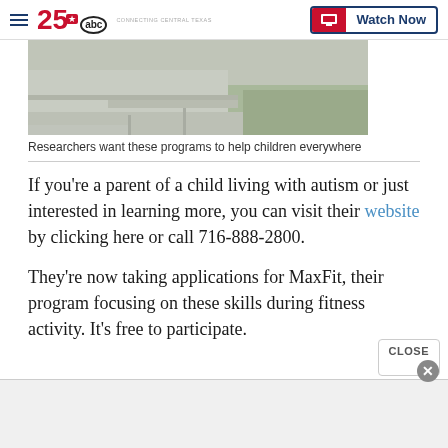25 abc CONNECTING CENTRAL TEXAS | Watch Now
[Figure (photo): Outdoor pavement/sidewalk with grass, researchers program image]
Researchers want these programs to help children everywhere
If you're a parent of a child living with autism or just interested in learning more, you can visit their website by clicking here or call 716-888-2800.
They're now taking applications for MaxFit, their program focusing on these skills during fitness activity. It's free to participate.